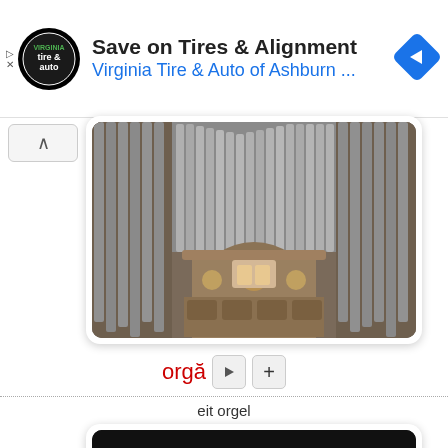[Figure (screenshot): Advertisement banner: Save on Tires & Alignment - Virginia Tire & Auto of Ashburn with logo and navigation arrow icon]
[Figure (photo): Photograph of a large pipe organ with ornate decorative architecture, showing silver pipes arranged in rows within an elaborate stone/marble facade]
orgă
eit orgel
[Figure (photo): Photograph of a light wood-colored upright piano bench or piano seat against a dark background]